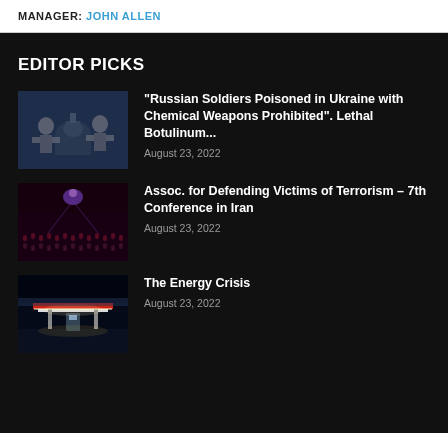MANAGER: John Allen
EDITOR PICKS
[Figure (photo): Two figures in hazmat suits near the US Capitol building]
“Russian Soldiers Poisoned in Ukraine with Chemical Weapons Prohibited”. Lethal Botulinum...
August 23, 2022
[Figure (photo): Conference hall with purple lighting and rows of people]
Assoc. for Defending Victims of Terrorism – 7th Conference in Iran
August 23, 2022
[Figure (photo): Gas station at night with red and white canopy lighting]
The Energy Crisis
August 23, 2022